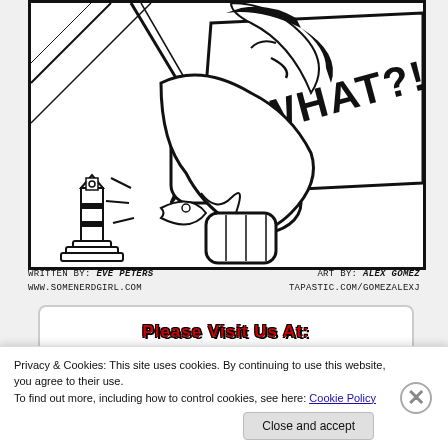[Figure (illustration): Black and white comic panel showing a character holding a large speech bubble that says 'WHAT?!' with a lighthouse in the lower left corner and action lines suggesting movement.]
WRITTEN BY: Eve Peters
www.somenerdgirl.com
ART BY: Alex Gomez
TAPASTIC.COM/GOMEZALEXJ
Please Visit Us At:
somenerdgirl.wordpress.com
Privacy & Cookies: This site uses cookies. By continuing to use this website, you agree to their use.
To find out more, including how to control cookies, see here: Cookie Policy
Close and accept